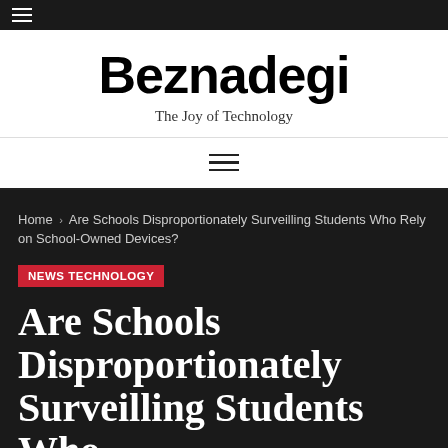≡
Beznadegi
The Joy of Technology
≡
Home › Are Schools Disproportionately Surveilling Students Who Rely on School-Owned Devices?
NEWS TECHNOLOGY
Are Schools Disproportionately Surveilling Students Who